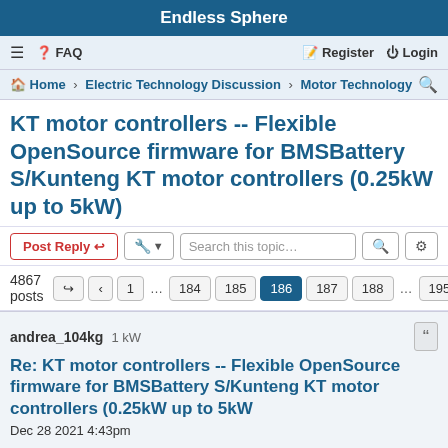Endless Sphere
≡  FAQ    Register  Login
Home › Electric Technology Discussion › Motor Technology
KT motor controllers -- Flexible OpenSource firmware for BMSBattery S/Kunteng KT motor controllers (0.25kW up to 5kW)
Post Reply  [tool] [search this topic...] [search] [settings]
4867 posts  [nav] 1 ... 184 185 186 187 188 ... 195 [>]
andrea_104kg   1 kW
Re: KT motor controllers -- Flexible OpenSource firmware for BMSBattery S/Kunteng KT motor controllers (0.25kW up to 5kW
Dec 28 2021 4:43pm
nothing good 🙁
I have reduced the tq from 1550 to 70 and reduced the levels below 50 ... engine always at maximum ...